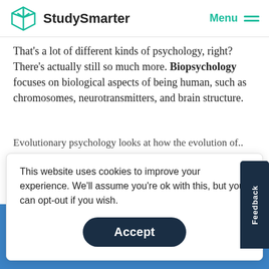StudySmarter  Menu
That's a lot of different kinds of psychology, right? There's actually still so much more. Biopsychology focuses on biological aspects of being human, such as chromosomes, neurotransmitters, and brain structure.
This website uses cookies to improve your experience. We'll assume you're ok with this, but you can opt-out if you wish.
Accept
Sociocultural psychologists study how culture and social
StudySmarter - The all-in-one study app.
4.8 • +11k Ratings
More than 3 Million Downloads
Free